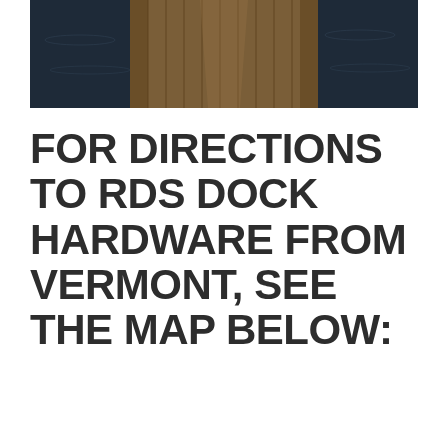[Figure (photo): Aerial/perspective view of a wooden dock extending over dark water, with water visible on both sides of the dock planks]
FOR DIRECTIONS TO RDS DOCK HARDWARE FROM VERMONT, SEE THE MAP BELOW: